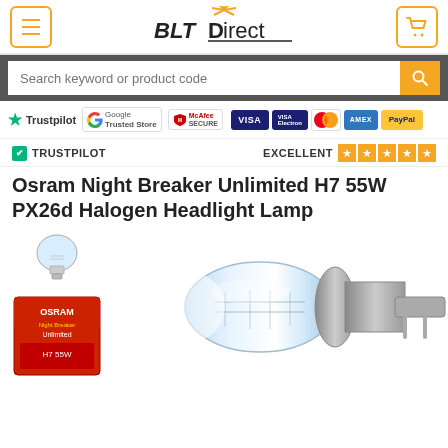[Figure (screenshot): BLT Direct website header with hamburger menu, BLT Direct logo with starburst, and shopping cart icon]
[Figure (screenshot): Search bar with placeholder text 'Search keyword or product code' and orange search button]
[Figure (logo): Trust badges: Trustpilot green star, Google Trusted Store, McAfee Secure, VISA, VISA Electron, Mastercard, AMEX, PayPal]
✔ TRUSTPILOT  EXCELLENT ★★★★★
Osram Night Breaker Unlimited H7 55W PX26d Halogen Headlight Lamp
[Figure (photo): Halogen headlight bulb H7 shown close-up with small thumbnail of the bulb and product packaging box on the left]